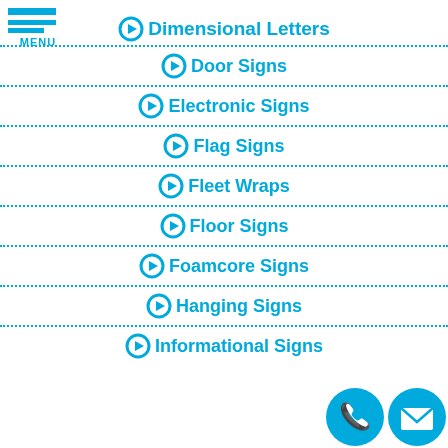[Figure (logo): Hamburger menu icon with three blue horizontal bars and 'MENU' label in blue]
➔ Dimensional Letters
➔ Door Signs
➔ Electronic Signs
➔ Flag Signs
➔ Fleet Wraps
➔ Floor Signs
➔ Foamcore Signs
➔ Hanging Signs
➔ Informational Signs
[Figure (illustration): Phone icon in blue circle and email/envelope icon in blue circle, contact buttons]